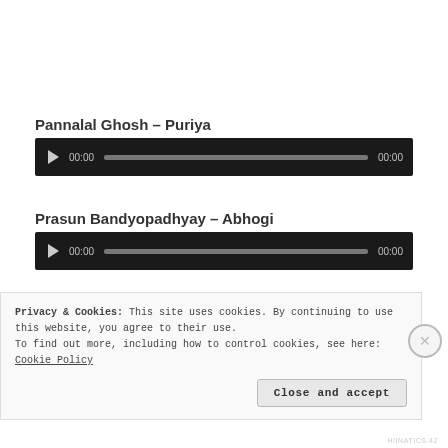Pannalal Ghosh – Puriya
[Figure (other): Audio player for Pannalal Ghosh – Puriya showing play button, 00:00 time counter, progress bar, and 00:00 duration]
Prasun Bandyopadhyay – Abhogi
[Figure (other): Audio player for Prasun Bandyopadhyay – Abhogi showing play button, 00:00 time counter, progress bar, and 00:00 duration]
Radhika Mohan Moitra – Chhaya Behag
[Figure (other): Partial audio player for Radhika Mohan Moitra – Chhaya Behag (cut off by cookie banner)]
Privacy & Cookies: This site uses cookies. By continuing to use this website, you agree to their use.
To find out more, including how to control cookies, see here: Cookie Policy
Close and accept